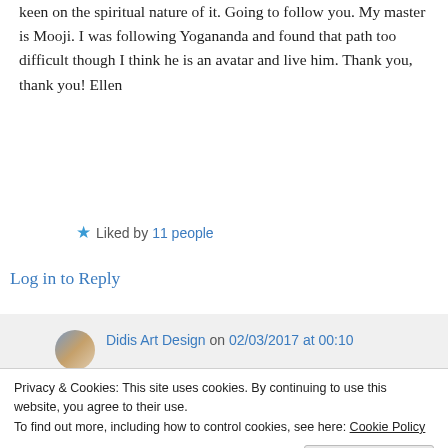keen on the spiritual nature of it. Going to follow you. My master is Mooji. I was following Yogananda and found that path too difficult though I think he is an avatar and live him. Thank you, thank you! Ellen
★ Liked by 11 people
Log in to Reply
Didis Art Design on 02/03/2017 at 00:10
Privacy & Cookies: This site uses cookies. By continuing to use this website, you agree to their use.
To find out more, including how to control cookies, see here: Cookie Policy